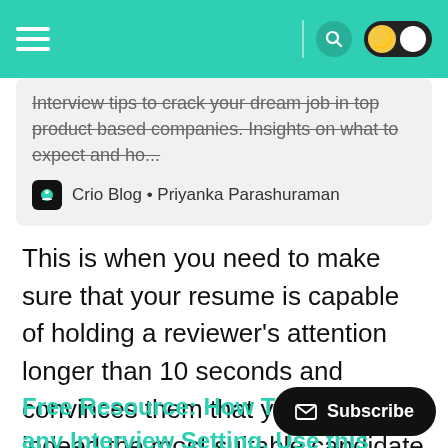Navigation bar with hamburger menu, search icon, and dark mode toggle
Interview tips to crack your dream job in top product based companies. Insights on what to expect and ho...
Crio Blog • Priyanka Parashuraman
This is when you need to make sure that your resume is capable of holding a reviewer's attention longer than 10 seconds and convinces them that you are indeed the most suitable candidate for the position.
Free Resource: How To Build Y... any Interview Setting. Use this simple Framework to WOW Your Interviewers.